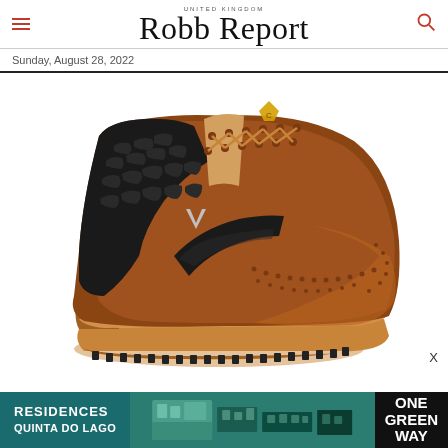UNITED KINGDOM Robb Report
Sunday, August 28, 2022
[Figure (photo): A luxury brown leather golf shoe with black crocodile-embossed leather accents, tan laces, gold Callaway logo badge, brogue perforation detailing, tan rubber sole with black plastic cleats/spikes on the bottom.]
[Figure (photo): Advertisement banner: RESIDENCES QUINTA DO LAGO on teal background with a building image in the middle and ONE GREEN WAY text on dark background on the right.]